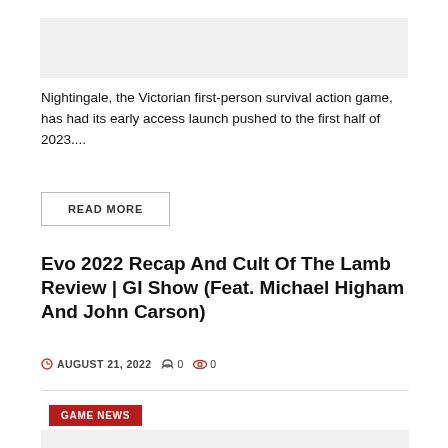[Figure (photo): Article thumbnail image placeholder (light gray box)]
Nightingale, the Victorian first-person survival action game, has had its early access launch pushed to the first half of 2023....
READ MORE
Evo 2022 Recap And Cult Of The Lamb Review | GI Show (Feat. Michael Higham And John Carson)
AUGUST 21, 2022   0   0
GAME NEWS
[Figure (photo): Second article thumbnail image placeholder (light gray box)]